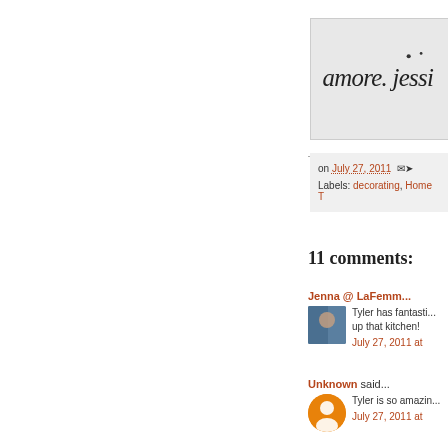[Figure (illustration): Blog header with cursive script text reading 'amore. jessi...' on a light gray background]
on July 27, 2011
Labels: decorating, Home T...
11 comments:
Jenna @ LaFemm... said...
Tyler has fantastic ... up that kitchen!
July 27, 2011 at ...
Unknown said...
Tyler is so amazin...
July 27, 2011 at ...